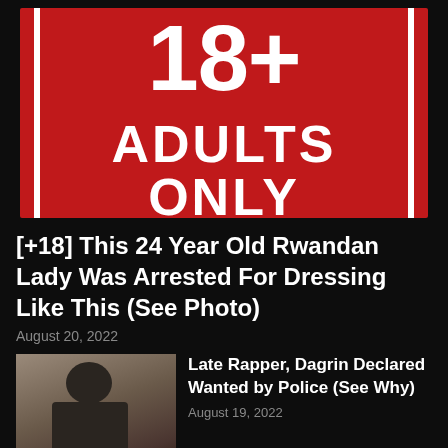[Figure (photo): Red sign with white text reading '18+ ADULTS ONLY' with white vertical border stripes on each side]
[+18] This 24 Year Old Rwandan Lady Was Arrested For Dressing Like This (See Photo)
August 20, 2022
[Figure (photo): Photo of a man, thumbnail image for related article]
Late Rapper, Dagrin Declared Wanted by Police (See Why)
August 19, 2022